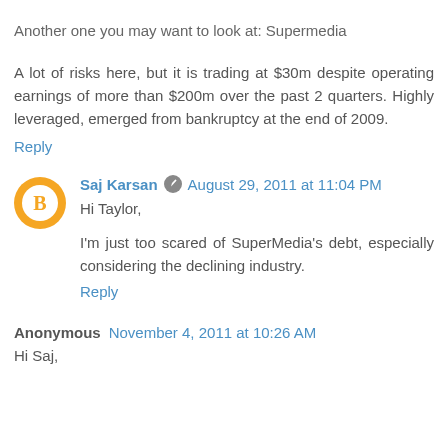Another one you may want to look at: Supermedia
A lot of risks here, but it is trading at $30m despite operating earnings of more than $200m over the past 2 quarters. Highly leveraged, emerged from bankruptcy at the end of 2009.
Reply
Saj Karsan  August 29, 2011 at 11:04 PM
Hi Taylor,
I'm just too scared of SuperMedia's debt, especially considering the declining industry.
Reply
Anonymous  November 4, 2011 at 10:26 AM
Hi Saj,